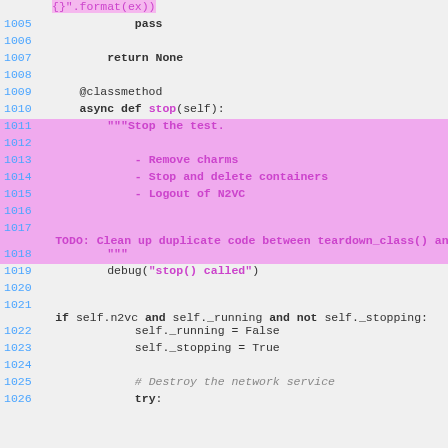Code listing lines 1005-1026, Python source code showing async def stop() method with docstring and implementation
[Figure (screenshot): Python source code editor view showing lines 1005-1026 with syntax highlighting. Lines 1011-1018 are highlighted in pink/magenta background showing the docstring for the stop() method. Line numbers shown in blue on left. Keywords in bold, string literals and function names in magenta/pink.]